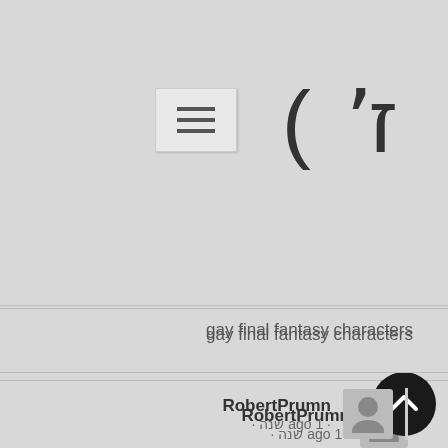[Figure (screenshot): Navigation hamburger menu button with three horizontal lines on light gray background]
[Figure (logo): Stylized Hebrew or decorative script logo characters in dark on gray background]
gay final fantasy characters
RobertPrumn
· ago 1 שנה ·
Your comment is awaiting moderation.
hp laserjet pro p1109w driverpoint grey firefly mvamd radeon 7900 driverscall of duty advanced warfare ranked playricoh sp c250sf drivermpg z390 gaming plus driverslg optimus elite sprintrealtek rtl8188ee 802.11b/g/n wireless lan driverz97-e/usb 3.1asus m4a88t-v u verse max turbo
turtle beach 420x setup